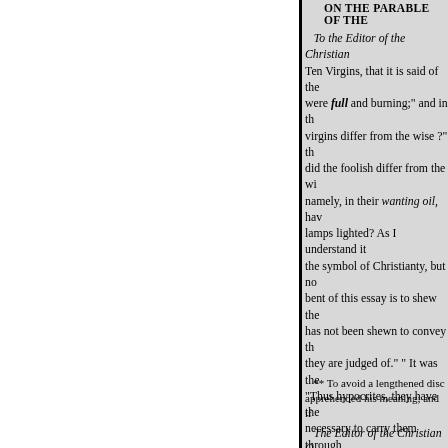ON THE PARABLE OF THE
To the Editor of the Christian
Ten Virgins, that it is said of the
were full and burning;" and in th
virgins differ from the wise ?" th
did the foolish differ from the wi
namely, in their wanting oil, hav
lamps lighted? As I understand it
the symbol of Christianty, but no
bent of this essay is to shew the
has not been shewn to convey th
they are judged of." " It was the
"Thus hypocrites, they have the
necessary to carry them through
of the wise virgins that they took

All I mean to say is, that the abs
foolish virgins.
** To avoid a lengthened disc
apprehended his meaning; and if
The Editor of the Christian O